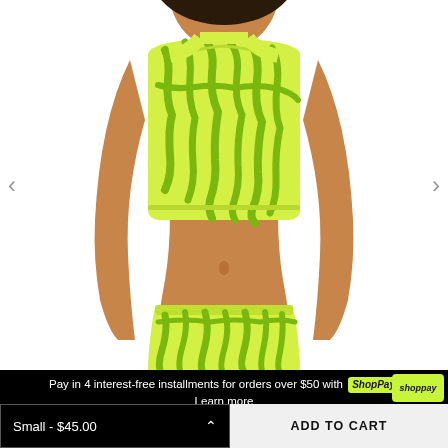[Figure (photo): Woman wearing a neon lime green zebra-print sports bra crop top and matching shorts/skirt, white background, cropped from neck to mid-thigh]
Pay in 4 interest-free installments for orders over $50 with Shop Pay
Learn more
Small - $45.00
ADD TO CART